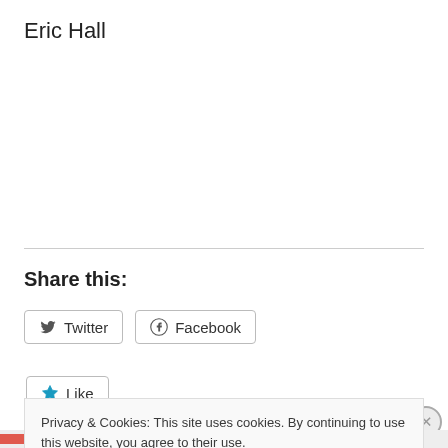Eric Hall
Share this:
Twitter  Facebook
Like
Privacy & Cookies: This site uses cookies. By continuing to use this website, you agree to their use.
To find out more, including how to control cookies, see here: Cookie Policy
Close and accept